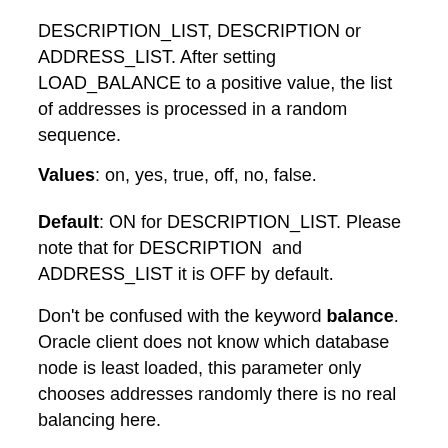DESCRIPTION_LIST, DESCRIPTION or ADDRESS_LIST. After setting LOAD_BALANCE to a positive value, the list of addresses is processed in a random sequence.
Values: on, yes, true, off, no, false.
Default: ON for DESCRIPTION_LIST. Please note that for DESCRIPTION and ADDRESS_LIST it is OFF by default.
Don’t be confused with the keyword balance. Oracle client does not know which database node is least loaded, this parameter only chooses addresses randomly there is no real balancing here.
The real balancing is a server-side task, when you connect to the SCAN listener it finds a least loaded node and redirects the connection to that node.
LOAD_BALANCE=ON will help you to distribute the load